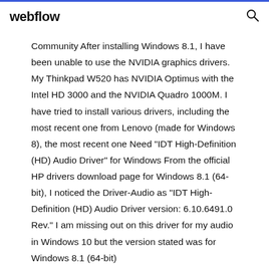webflow
Community After installing Windows 8.1, I have been unable to use the NVIDIA graphics drivers. My Thinkpad W520 has NVIDIA Optimus with the Intel HD 3000 and the NVIDIA Quadro 1000M. I have tried to install various drivers, including the most recent one from Lenovo (made for Windows 8), the most recent one Need "IDT High-Definition (HD) Audio Driver" for Windows From the official HP drivers download page for Windows 8.1 (64-bit), I noticed the Driver-Audio as "IDT High-Definition (HD) Audio Driver version: 6.10.6491.0 Rev." I am missing out on this driver for my audio in Windows 10 but the version stated was for Windows 8.1 (64-bit)